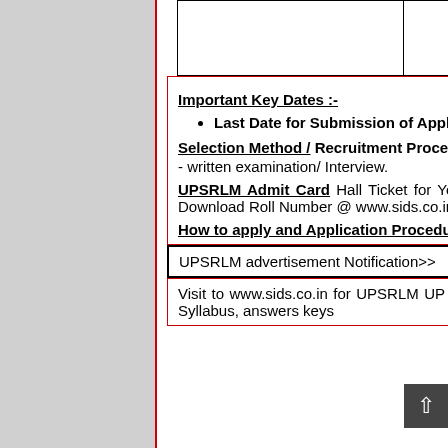|  |  | Dairy/ |
| --- | --- | --- |
|  |  |  |
Important Key Dates :-
Last Date for Submission of Application Form: 30 September 2015.
Selection Method / Recruitment Process
- written examination/ Interview.
UPSRLM Admit Card Hall Ticket for Young Professional, District Manager, Block Manager ETC Jobs - Download Roll Number @ www.sids.co.in
How to apply and Application Procedure:-
UPSRLM advertisement Notification>>
Visit to www.sids.co.in for UPSRLM UP Young Professional, District Manager, Block Manager ETC posts Syllabus, answers keys